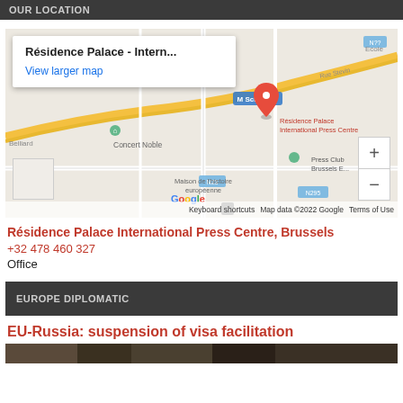OUR LOCATION
[Figure (map): Google Map showing Résidence Palace International Press Centre area in Brussels, with Concert Noble, Maison de l'histoire européenne, Schuman metro stop, and Press Club Brussels labeled. Red location pin marks the Résidence Palace. Zoom controls visible on right side.]
Résidence Palace - Intern...
View larger map
Résidence Palace International Press Centre, Brussels
+32 478 460 327
Office
EUROPE DIPLOMATIC
EU-Russia: suspension of visa facilitation